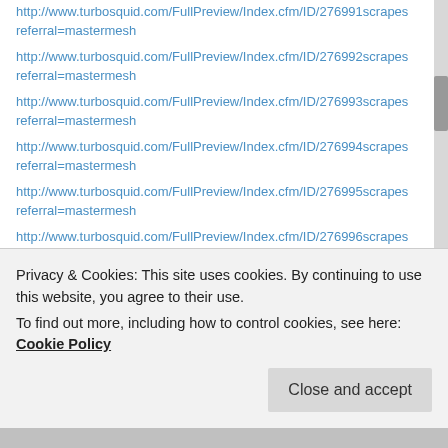http://www.turbosquid.com/FullPreview/Index.cfm/ID/276992scrapes referral=mastermesh
http://www.turbosquid.com/FullPreview/Index.cfm/ID/276993scrapes referral=mastermesh
http://www.turbosquid.com/FullPreview/Index.cfm/ID/276994scrapes referral=mastermesh
http://www.turbosquid.com/FullPreview/Index.cfm/ID/276995scrapes referral=mastermesh
http://www.turbosquid.com/FullPreview/Index.cfm/ID/276996scrapes referral=mastermesh
http://www.turbosquid.com/FullPreview/Index.cfm/ID/276997scrapes referral=mastermesh
http://www.turbosquid.com/FullPreview/Index.cfm/ID/276999scrapes
Privacy & Cookies: This site uses cookies. By continuing to use this website, you agree to their use.
To find out more, including how to control cookies, see here: Cookie Policy